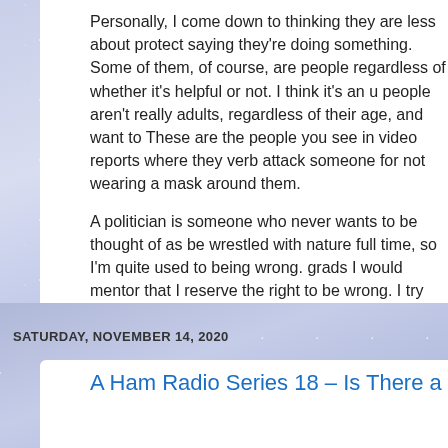Personally, I come down to thinking they are less about protecting people and more about politicians saying they're doing something. Some of them, of course, are trying to control people regardless of whether it's helpful or not. I think it's an unfortunate truth that many people aren't really adults, regardless of their age, and want to be controlled and led. These are the people you see in video reports where they verbally or even physically attack someone for not wearing a mask around them.
A politician is someone who never wants to be thought of as being wrong. I've wrestled with nature full time, so I'm quite used to being wrong. I always told the grads I would mentor that I reserve the right to be wrong. I try not to be wrong too much. This might all be wrong, too.
Posted by SiGraybeard at 9:48 PM    14 comments:
Labels: lost and profound, Sciencey, virus_response
SATURDAY, NOVEMBER 14, 2020
A Ham Radio Series 18 – Is There a Transmit Equiv